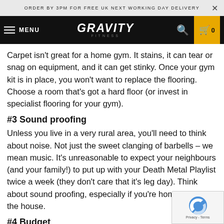ORDER BY 3PM FOR FREE UK NEXT WORKING DAY DELIVERY
[Figure (screenshot): Gravity Fitness website navigation bar with hamburger menu, Gravity Fitness logo, search icon, and shopping cart (0 items) on black background with yellow cart box]
Carpet isn't great for a home gym. It stains, it can tear or snag on equipment, and it can get stinky. Once your gym kit is in place, you won't want to replace the flooring. Choose a room that's got a hard floor (or invest in specialist flooring for your gym).
#3 Sound proofing
Unless you live in a very rural area, you'll need to think about noise. Not just the sweet clanging of barbells – we mean music. It's unreasonable to expect your neighbours (and your family!) to put up with your Death Metal Playlist twice a week (they don't care that it's leg day). Think about sound proofing, especially if you're home gym is in the house.
#4 Budget
Don't get started on a home gym project without a serious discussion about budget. Treat this like any home renovation project. You'll need materials, labour, fittings, flooring, lighting and of course your gym kit. You might need new locks or other